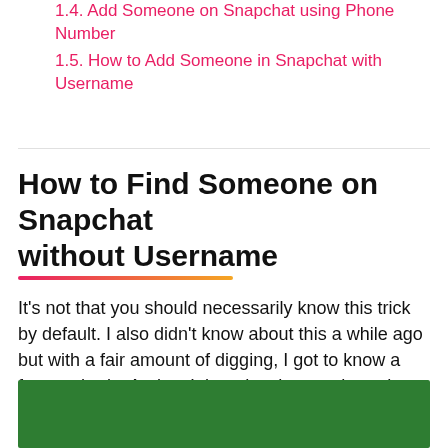1.4. Add Someone on Snapchat using Phone Number
1.5. How to Add Someone in Snapchat with Username
How to Find Someone on Snapchat without Username
It's not that you should necessarily know this trick by default. I also didn't know about this a while ago but with a fair amount of digging, I got to know a few methods. And so I thought why not share the guide with you. It gives us the option to follow anyone and enjoy amazing stories.
[Figure (other): Green rectangular block at the bottom of the page]